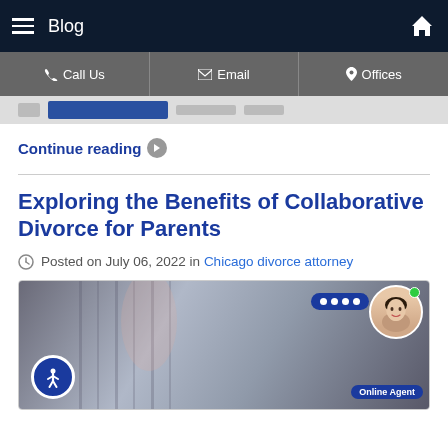Blog
Call Us | Email | Offices
Continue reading
Exploring the Benefits of Collaborative Divorce for Parents
Posted on July 06, 2022 in Chicago divorce attorney
[Figure (photo): Person in a black pinstripe suit holding a pen, with a chat widget and online agent avatar overlay in the corner]